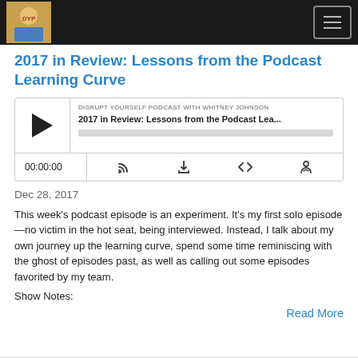Disrupt Yourself Podcast with Whitney Johnson
2017 in Review: Lessons from the Podcast Learning Curve
[Figure (screenshot): Podcast player widget showing episode '2017 in Review: Lessons from the Podcast Lea...' with play button, progress bar, time 00:00:00, and control icons for RSS, download, embed, and share.]
Dec 28, 2017
This week's podcast episode is an experiment. It's my first solo episode—no victim in the hot seat, being interviewed. Instead, I talk about my own journey up the learning curve, spend some time reminiscing with the ghost of episodes past, as well as calling out some episodes favorited by my team.
Show Notes:
Read More